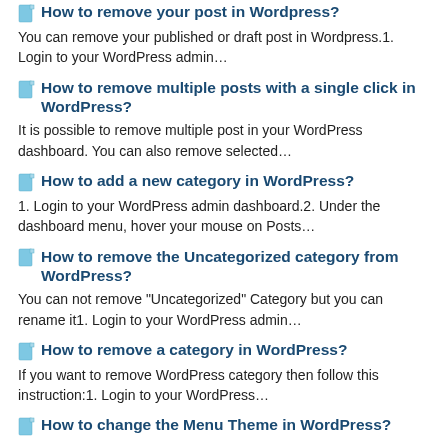How to remove your post in Wordpress?
You can remove your published or draft post in Wordpress.1. Login to your WordPress admin…
How to remove multiple posts with a single click in WordPress?
It is possible to remove multiple post in your WordPress dashboard. You can also remove selected…
How to add a new category in WordPress?
1. Login to your WordPress admin dashboard.2. Under the dashboard menu, hover your mouse on Posts…
How to remove the Uncategorized category from WordPress?
You can not remove "Uncategorized" Category but you can rename it1. Login to your WordPress admin…
How to remove a category in WordPress?
If you want to remove WordPress category then follow this instruction:1. Login to your WordPress…
How to change the Menu Theme in WordPress?